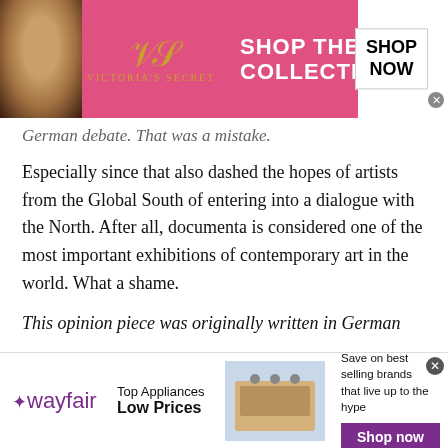[Figure (other): Victoria's Secret advertisement banner with pink background, model photo, VS logo, 'SHOP THE COLLECTION' text, and 'SHOP NOW' button]
German debate. That was a mistake.
Especially since that also dashed the hopes of artists from the Global South of entering into a dialogue with the North. After all, documenta is considered one of the most important exhibitions of contemporary art in the world. What a shame.
This opinion piece was originally written in German
The post A scandal foretold over antisemitic art at documenta appeared first on Deutsche Welle.
[Figure (other): Wayfair advertisement banner with logo, 'Top Appliances Low Prices' tagline, stove image, 'Save on best selling brands that live up to the hype' text, and purple 'Shop now' button]